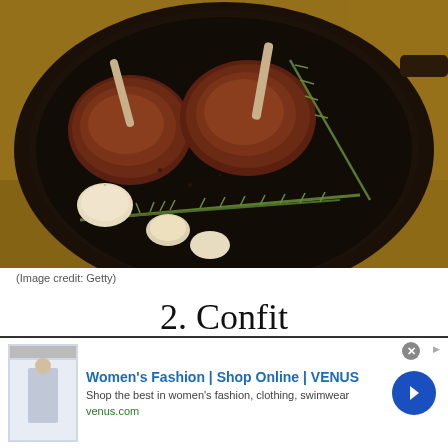[Figure (photo): Overhead view of lamb chops or meat cutlets with rosemary sprigs and roasted garlic cloves in a dark cast iron pan, on a rustic golden surface]
(Image credit: Getty)
2. Confit
While the French word confit simply means "preserved," the culinary term refers to cooking meat, vegetables or
[Figure (screenshot): Advertisement banner: Women's Fashion | Shop Online | VENUS. Shop the best in women's fashion, clothing, swimwear. venus.com]